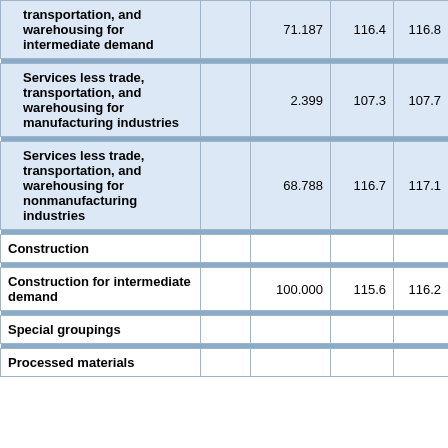| Category |  | Value | Col1 | Col2 | Col3 |
| --- | --- | --- | --- | --- | --- |
| transportation, and warehousing for intermediate demand |  | 71.187 | 116.4 | 116.8 | 1 |
| Services less trade, transportation, and warehousing for manufacturing industries |  | 2.399 | 107.3 | 107.7 | 1 |
| Services less trade, transportation, and warehousing for nonmanufacturing industries |  | 68.788 | 116.7 | 117.1 | 1 |
| Construction |  |  |  |  |  |
| Construction for intermediate demand |  | 100.000 | 115.6 | 116.2 | 1 |
| Special groupings |  |  |  |  |  |
| Processed materials |  | ... | ... | ... | ... |